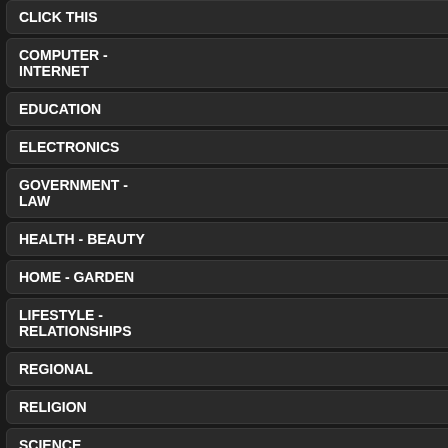CLICK THIS +/-
COMPUTER - INTERNET +/-
EDUCATION +/-
ELECTRONICS +/-
GOVERNMENT - LAW +/-
HEALTH - BEAUTY +/-
HOME - GARDEN +/-
LIFESTYLE - RELATIONSHIPS +/-
REGIONAL +/-
RELIGION +/-
SCIENCE +/-
SHOPS - MALLS +/-
Category Information : Br
This is our Brick - Mortar catego... free to browse these listings. If y... Submit it for inclusion.
LINK LISTINGS :
OnTapBeer
[Figure (screenshot): Screenshot of OnTapBeer website showing affiliate link directory page]
On Tap i... our liqui... and enjo... One bott...
http
Removal
There are no artic...
Featured Links
Video